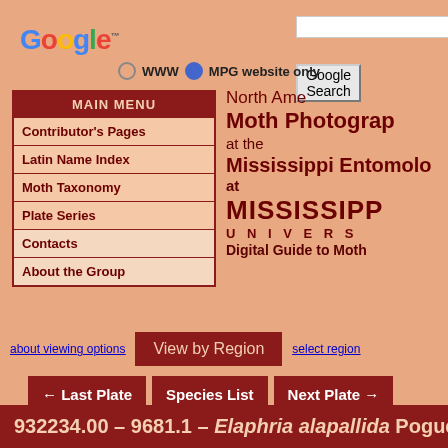[Figure (logo): Google logo in multicolor letters]
Google Search button and search input field
WWW   MPG website only (radio buttons)
MAIN MENU
Contributor's Pages
Latin Name Index
Moth Taxonomy
Plate Series
Contacts
About the Group
North American Moth Photographers Group at the Mississippi Entomological Museum at MISSISSIPPI STATE UNIVERSITY Digital Guide to Moths
about viewing options   View by Region   select region
← Last Plate   Species List   Next Plate →
932234.00 – 9681.1 – Elaphria alapallida Pogue